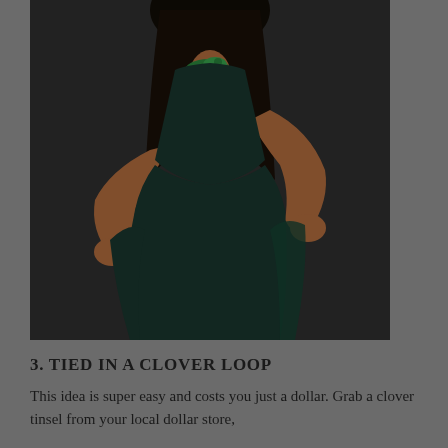[Figure (photo): A woman wearing a dark green sleeveless dress with a green clover/bandana scarf tied around her neck. She is posing with hands raised in a playful gesture against a dark grey background.]
3. TIED IN A CLOVER LOOP
This idea is super easy and costs you just a dollar. Grab a clover tinsel from your local dollar store,